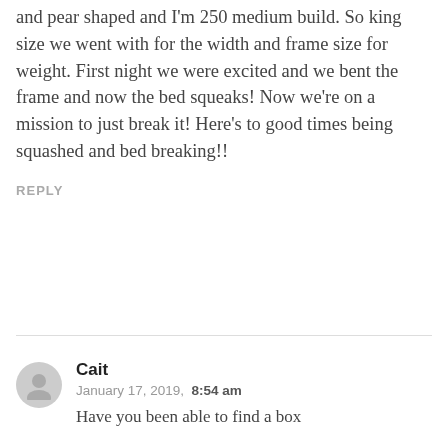and pear shaped and I'm 250 medium build. So king size we went with for the width and frame size for weight. First night we were excited and we bent the frame and now the bed squeaks! Now we're on a mission to just break it! Here's to good times being squashed and bed breaking!!
REPLY
Cait
January 17, 2019,  8:54 am
Have you been able to find a box